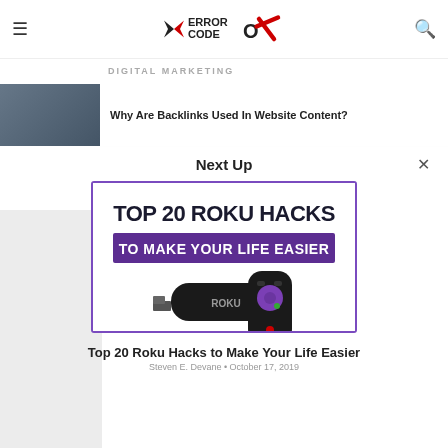Error Code OX — website header with logo, hamburger menu, and search icon
DIGITAL MARKETING
Why Are Backlinks Used In Website Content?
Next Up
[Figure (screenshot): TOP 20 ROKU HACKS TO MAKE YOUR LIFE EASIER — promotional image with Roku streaming stick remote on white background with purple/dark banner text]
Top 20 Roku Hacks to Make Your Life Easier
Steven E. Devane • October 17, 2019